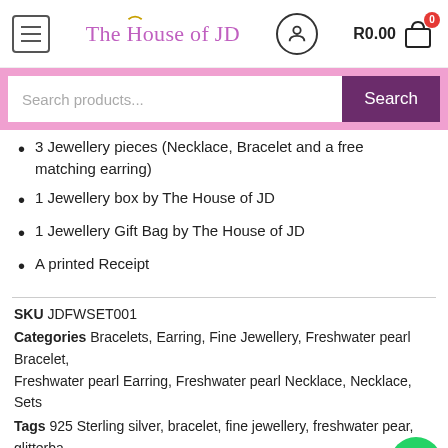The House of JD — R0.00
[Figure (screenshot): Search bar with pink background and purple Search button showing 'Search products...' placeholder text]
3 Jewellery pieces (Necklace, Bracelet and a free matching earring)
1 Jewellery box by The House of JD
1 Jewellery Gift Bag by The House of JD
A printed Receipt
SKU JDFWSET001
Categories Bracelets, Earring, Fine Jewellery, Freshwater pearl Bracelet, Freshwater pearl Earring, Freshwater pearl Necklace, Necklace, Sets
Tags 925 Sterling silver, bracelet, fine jewellery, freshwater pear, glitterba… Necklace, Pearl, pearl set, Set